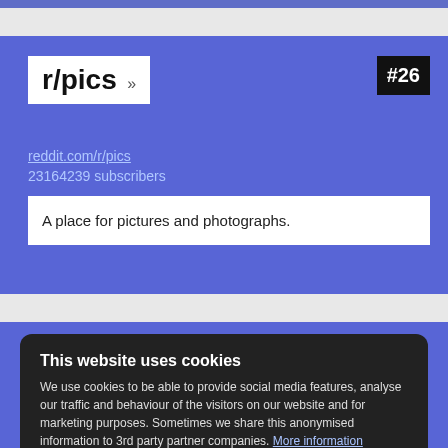r/pics
r/pics »  #26
reddit.com/r/pics
23164239 subscribers
A place for pictures and photographs.
This website uses cookies
We use cookies to be able to provide social media features, analyse our traffic and behaviour of the visitors on our website and for marketing purposes. Sometimes we share this anonymised information to 3rd party partner companies. More information
I accept all Cookies
Change settings